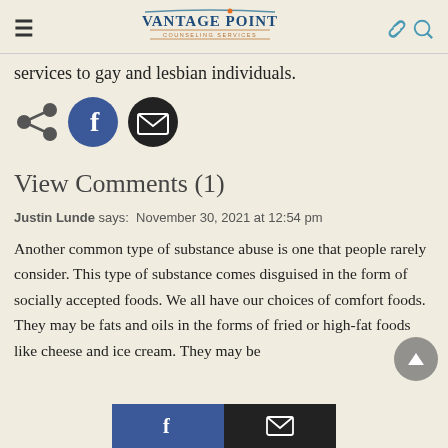Vantage Point Counseling Services
services to gay and lesbian individuals.
[Figure (other): Social share icons: share, Facebook, email]
View Comments (1)
Justin Lunde says: November 30, 2021 at 12:54 pm
Another common type of substance abuse is one that people rarely consider. This type of substance comes disguised in the form of socially accepted foods. We all have our choices of comfort foods. They may be fats and oils in the forms of fried or high-fat foods like cheese and ice cream. They may be
Facebook share | Email share buttons